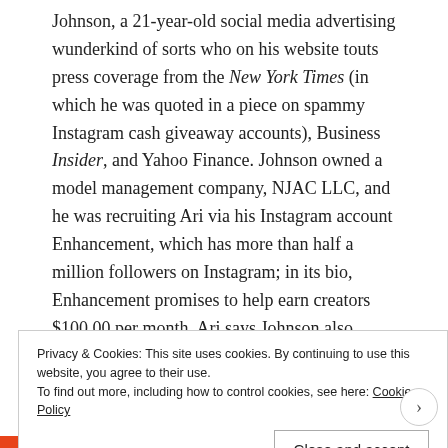Johnson, a 21-year-old social media advertising wunderkind of sorts who on his website touts press coverage from the New York Times (in which he was quoted in a piece on spammy Instagram cash giveaway accounts), Business Insider, and Yahoo Finance. Johnson owned a model management company, NJAC LLC, and he was recruiting Ari via his Instagram account Enhancement, which has more than half a million followers on Instagram; in its bio, Enhancement promises to help earn creators $100,00 per month. Ari says Johnson also claimed to be partnered with Baddie, a popular
Privacy & Cookies: This site uses cookies. By continuing to use this website, you agree to their use.
To find out more, including how to control cookies, see here: Cookie Policy
Close and accept